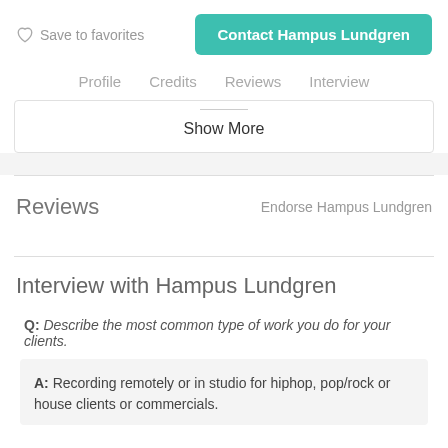Save to favorites
Contact Hampus Lundgren
Profile   Credits   Reviews   Interview
Show More
Reviews
Endorse Hampus Lundgren
Interview with Hampus Lundgren
Q: Describe the most common type of work you do for your clients.
A: Recording remotely or in studio for hiphop, pop/rock or house clients or commercials.